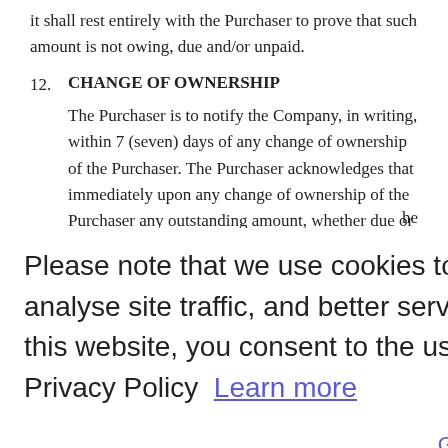it shall rest entirely with the Purchaser to prove that such amount is not owing, due and/or unpaid.
12. CHANGE OF OWNERSHIP
The Purchaser is to notify the Company, in writing, within 7 (seven) days of any change of ownership of the Purchaser. The Purchaser acknowledges that immediately upon any change of ownership of the Purchaser any outstanding amount, whether due or
Please note that we use cookies to offer you a better user experience, analyse site traffic, and better serve advertising. By continuing to use this website, you consent to the use of cookies in accordance with our Privacy Policy  Learn more
Got it
in respect of which payment has not been made at the